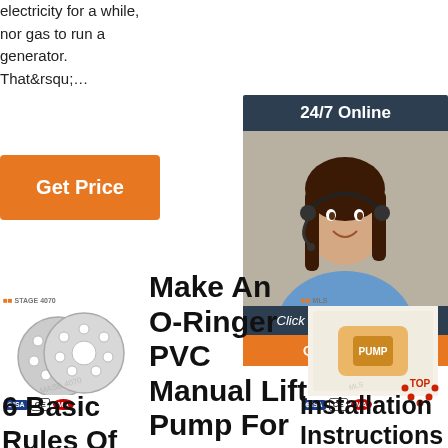electricity for a while, nor gas to run a generator. That&rsqu…
[Figure (screenshot): Orange 'Get Price' button]
[Figure (photo): 24/7 Online chat panel with woman wearing headset, 'Click here for free chat!' text and orange QUOTATION button on dark blue background]
[Figure (photo): Metal O-ring / perforated disc product photo with company logo and CE MA badges]
Make An O-Ringer PVC Manual Lift Pump For Your Well
[Figure (photo): Second product card with company logo, product image, CE MA badges, and TOP logo overlay]
6 Basic Rules Of
Installation Instructions